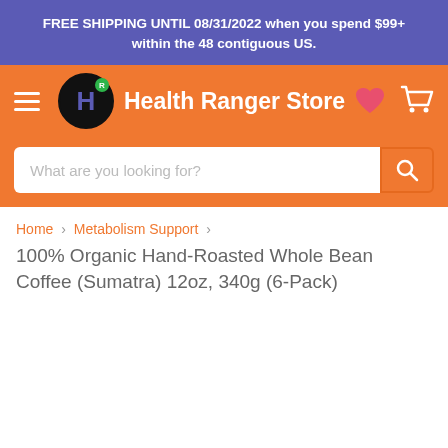FREE SHIPPING UNTIL 08/31/2022 when you spend $99+ within the 48 contiguous US.
[Figure (logo): Health Ranger Store navigation bar with hamburger menu, circular H logo with green R badge, store name in white text, heart icon and shopping cart icon on orange background]
[Figure (screenshot): Search input bar with placeholder text 'What are you looking for?' and orange search button with magnifying glass icon]
Home › Metabolism Support ›
100% Organic Hand-Roasted Whole Bean Coffee (Sumatra) 12oz, 340g (6-Pack)